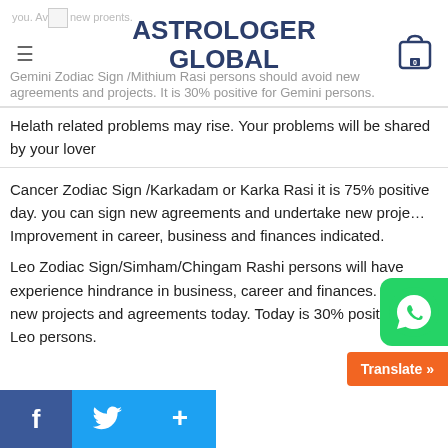ASTROLOGER GLOBAL
Gemini Zodiac Sign /Mithium Rasi persons should avoid new agreements and projects. It is 30% positive for Gemini persons. Helath related problems may rise. Your problems will be shared by your lover
Cancer Zodiac Sign /Karkadam or Karka Rasi it is 75% positive day. you can sign new agreements and undertake new projects. Improvement in career, business and finances indicated.
Leo Zodiac Sign/Simham/Chingam Rashi persons will have experience hindrance in business, career and finances. Avoid new projects and agreements today. Today is 30% positive for Leo persons.